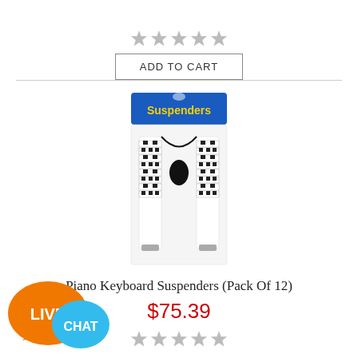[Figure (other): ADD TO CART button with star rating placeholder above it]
[Figure (photo): Piano Keyboard Suspenders product photo — white suspenders with black and white piano keyboard pattern, packaged in a blue header card labeled Suspenders]
Piano Keyboard Suspenders (Pack Of 12)
$75.39
[Figure (other): Five empty star rating icons]
[Figure (other): Live Chat speech bubble icon — orange bubble with LIVE text and blue bubble with CHAT text]